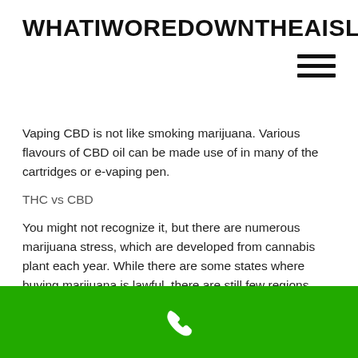WHATIWOREDOWNTHEAISLE.COM
Vaping CBD is not like smoking marijuana. Various flavours of CBD oil can be made use of in many of the cartridges or e-vaping pen.
THC vs CBD
You might not recognize it, but there are numerous marijuana stress, which are developed from cannabis plant each year. While there are some states where buying marijuana is lawful, there are still few regions where it has actually been strictly outlawed, to avoid the young people getting mislead.
The chemical part extracted from hemp does not have the very same chemical make-up as THC is missing. It is readily available worldwide.
[Figure (other): Green footer bar with a white phone/call icon in the center]